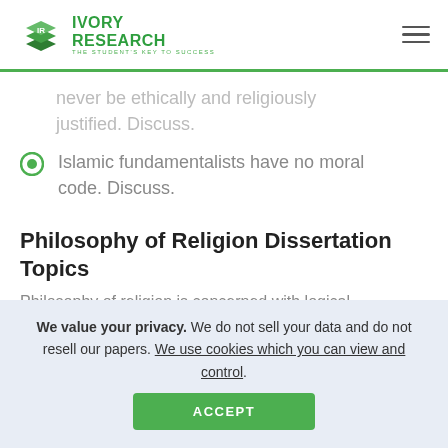[Figure (logo): Ivory Research logo — green 3D book icon with 'IR', text: IVORY RESEARCH, THE STUDENT'S KEY TO SUCCESS]
never be ethically and religiously justified. Discuss.
Islamic fundamentalists have no moral code. Discuss.
Philosophy of Religion Dissertation Topics
Philosophy of religion is concerned with logical
We value your privacy. We do not sell your data and do not resell our papers. We use cookies which you can view and control.